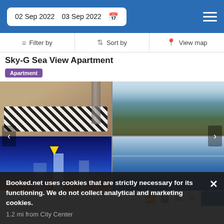02 Sep 2022  03 Sep 2022
Filter by  |  Sort by  |  View map
Sky-G Sea View Apartment
Apartment
[Figure (photo): Four-panel photo collage of Sky-G Sea View Apartment: top-left shows bedroom with zebra-print bedding, top-right shows aerial sea view, bottom-left shows city skyline with yellow arrow pointing to building, bottom-right shows open sea horizon view.]
Booked.net uses cookies that are strictly necessary for its functioning. We do not collect analytical and marketing cookies.
1.2 mi from City Center